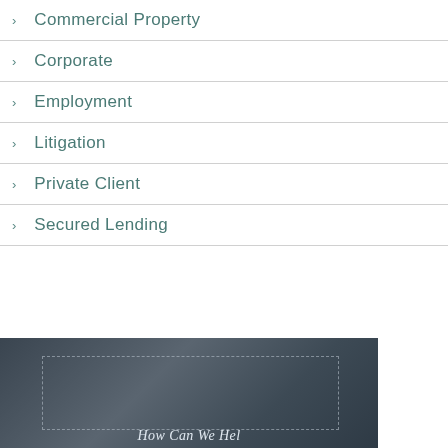Commercial Property
Corporate
Employment
Litigation
Private Client
Secured Lending
[Figure (photo): Dark photo background with a dashed rectangle overlay and partial italic text at the bottom reading 'How Can We Help']